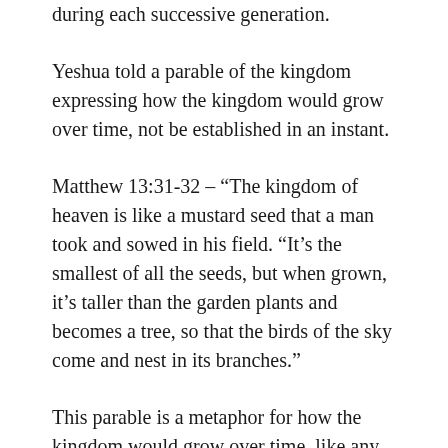during each successive generation.
Yeshua told a parable of the kingdom expressing how the kingdom would grow over time, not be established in an instant.
Matthew 13:31-32 – “The kingdom of heaven is like a mustard seed that a man took and sowed in his field. “It’s the smallest of all the seeds, but when grown, it’s taller than the garden plants and becomes a tree, so that the birds of the sky come and nest in its branches.”
This parable is a metaphor for how the kingdom would grow over time, like any other living thing God has created. But even as it grows, the kingdom is being manifested every